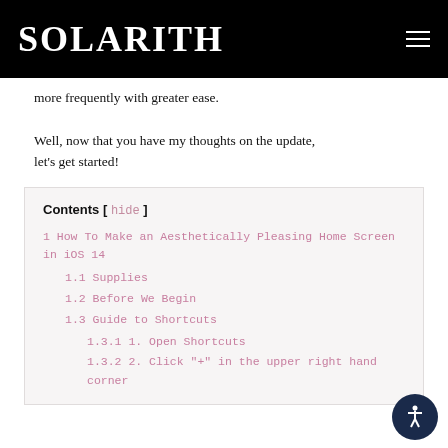SOLARITH
more frequently with greater ease.
Well, now that you have my thoughts on the update, let's get started!
1 How To Make an Aesthetically Pleasing Home Screen in iOS 14
1.1 Supplies
1.2 Before We Begin
1.3 Guide to Shortcuts
1.3.1 1. Open Shortcuts
1.3.2 2. Click "+" in the upper right hand corner